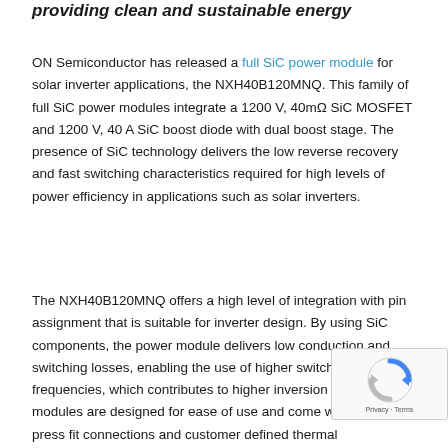providing clean and sustainable energy
ON Semiconductor has released a full SiC power module for solar inverter applications, the NXH40B120MNQ. This family of full SiC power modules integrate a 1200 V, 40mΩ SiC MOSFET and 1200 V, 40 A SiC boost diode with dual boost stage. The presence of SiC technology delivers the low reverse recovery and fast switching characteristics required for high levels of power efficiency in applications such as solar inverters.
The NXH40B120MNQ offers a high level of integration with pin assignment that is suitable for inverter design. By using SiC components, the power module delivers low conduction and switching losses, enabling the use of higher switching frequencies, which contributes to higher inversion effici… The modules are designed for ease of use and come w… solderless press fit connections and customer defined thermal…
[Figure (other): reCAPTCHA privacy badge overlay in bottom-right corner]